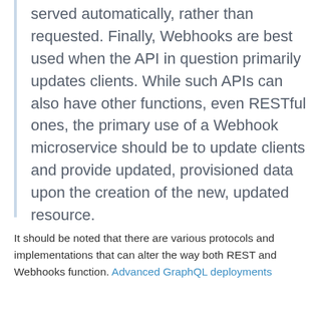served automatically, rather than requested. Finally, Webhooks are best used when the API in question primarily updates clients. While such APIs can also have other functions, even RESTful ones, the primary use of a Webhook microservice should be to update clients and provide updated, provisioned data upon the creation of the new, updated resource.
It should be noted that there are various protocols and implementations that can alter the way both REST and Webhooks function. Advanced GraphQL deployments